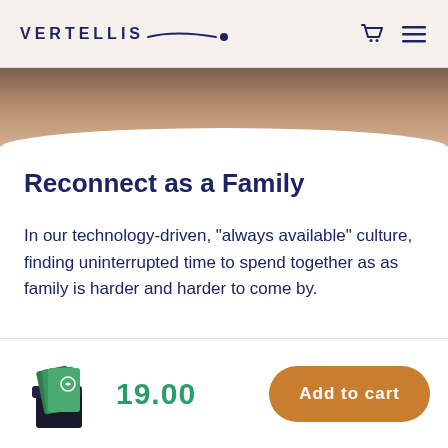VERTELLIS
[Figure (photo): Partial product image strip at top of page]
Reconnect as a Family
In our technology-driven, "always available" culture, finding uninterrupted time to spend together as as family is harder and harder to come by.
[Figure (photo): Vertellis product box with green cards]
19.00
Add to cart